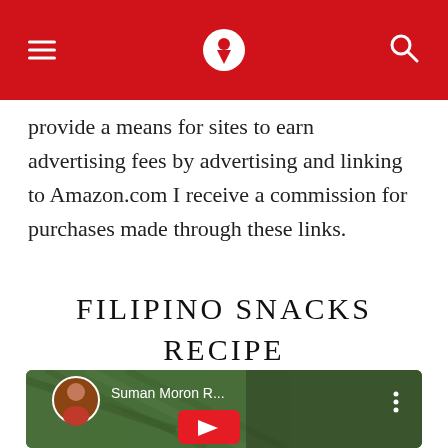[Navigation header with hamburger menu, logo icon, and search icon on red background]
provide a means for sites to earn advertising fees by advertising and linking to Amazon.com I receive a commission for purchases made through these links.
FILIPINO SNACKS RECIPE
[Figure (screenshot): YouTube video thumbnail showing a woman in a red dress with green foliage background, titled 'Suman Moron R...' with a red YouTube play button overlay]